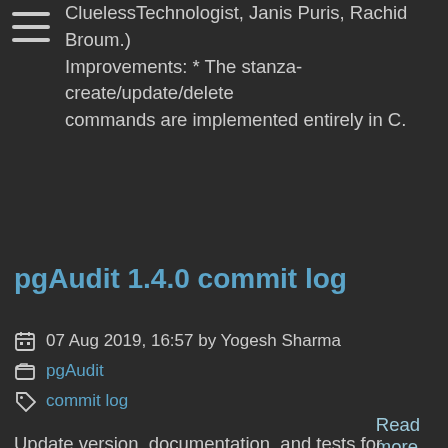CluelessTechnologist, Janis Puris, Rachid Broum.) Improvements: * The stanza-create/update/delete commands are implemented entirely in C.
Read more »
pgAudit 1.4.0 commit log
07 Aug 2019, 16:57 by Yogesh Sharma
pgAudit
commit log
Update version, documentation, and tests for PostgreSQL 12. commit : e1b2d890a393b8d70a10e4fb153cdba5a8fdb8b8 author : David Steele <david@pgmasters.net> date : Wed, 7 Aug 2019 16:57:42 -0400 committer: David Steele <david@pgmasters.net> date : Wed, 7 Aug 2019 16:57:42 -0400 Click here for diff M Makefile M